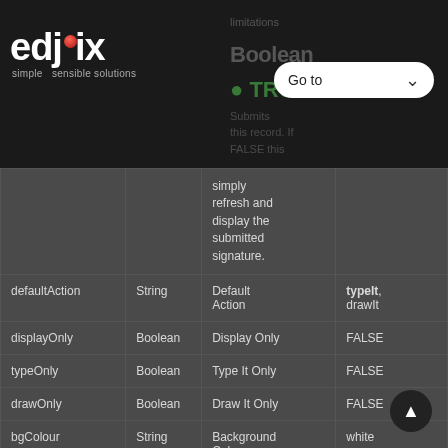[Figure (logo): edjix logo with red dot over i, tagline: simple sensible solutions]
| Parameter | Type | Description | Default |
| --- | --- | --- | --- |
|  |  | simply refresh and display the submitted signature. |  |
| defaultAction | String | Default Action | typeIt, drawIt |
| displayOnly | Boolean | Display Only | FALSE |
| typeOnly | Boolean | Type It Only | FALSE |
| drawOnly | Boolean | Draw It Only | FALSE |
| bgColour | String | Background Color | white |
| penColour | String | Pen Color | #145394 |